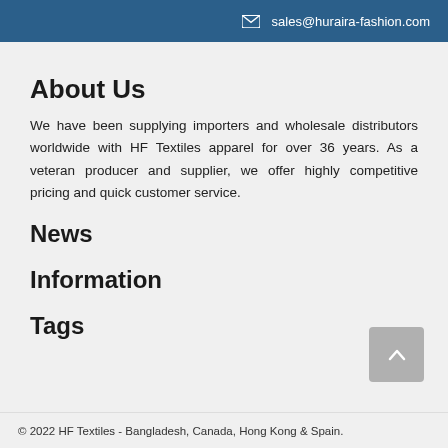sales@huraira-fashion.com
About Us
We have been supplying importers and wholesale distributors worldwide with HF Textiles apparel for over 36 years. As a veteran producer and supplier, we offer highly competitive pricing and quick customer service.
News
Information
Tags
© 2022 HF Textiles - Bangladesh, Canada, Hong Kong & Spain.